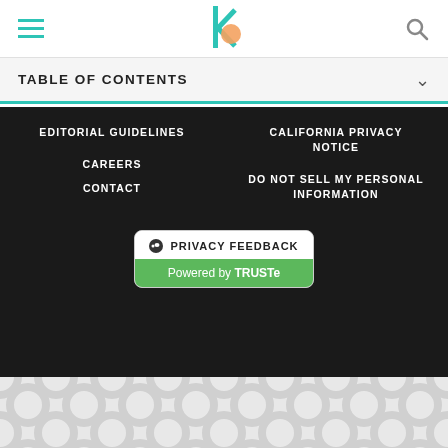The Balance - navigation header with hamburger menu, logo, and search icon
TABLE OF CONTENTS
EDITORIAL GUIDELINES
CALIFORNIA PRIVACY NOTICE
CAREERS
CONTACT
DO NOT SELL MY PERSONAL INFORMATION
[Figure (logo): Privacy Feedback button powered by TRUSTe - white box with dark top section and green bottom section]
[Figure (logo): Dotdash Meredith logo - orange D circle with colorful pattern circle and text]
The Balance is part of the Dotdash Meredith publishing family
Ad